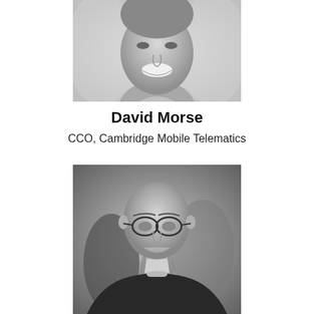[Figure (photo): Black and white headshot photo of David Morse, partially cropped showing lower face and shoulders, smiling]
David Morse
CCO, Cambridge Mobile Telematics
[Figure (photo): Black and white headshot photo of a bald man wearing glasses and a dark sweater, smiling in an office setting]